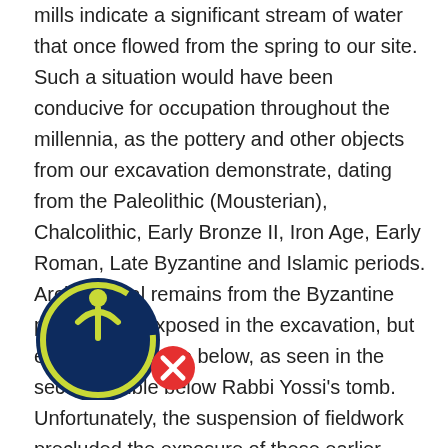mills indicate a significant stream of water that once flowed from the spring to our site. Such a situation would have been conducive for occupation throughout the millennia, as the pottery and other objects from our excavation demonstrate, dating from the Paleolithic (Mousterian), Chalcolithic, Early Bronze II, Iron Age, Early Roman, Late Byzantine and Islamic periods. Architectural remains from the Byzantine period were exposed in the excavation, but earlier remains lie below, as seen in the section visible below Rabbi Yossi's tomb. Unfortunately, the suspension of fieldwork precluded the exposure of these earlier remains.
[Figure (logo): Circular logo with a dark navy background and a person/arrow icon in yellow-green, with a small red X badge at bottom right]